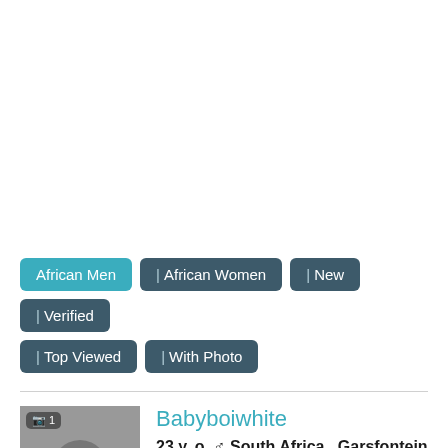[Figure (other): Top blank white space area of a dating/social website screenshot]
African Men
| African Women
| New
| Verified
| Top Viewed
| With Photo
[Figure (photo): Black and white profile photo of a young man, with a camera/photo count badge showing '1' in the top left corner]
Babyboiwhite
23 y. o. ♂ South Africa , Garsfontein
Asian, 175 cm (5'9''), 45 kg (100 lbs)